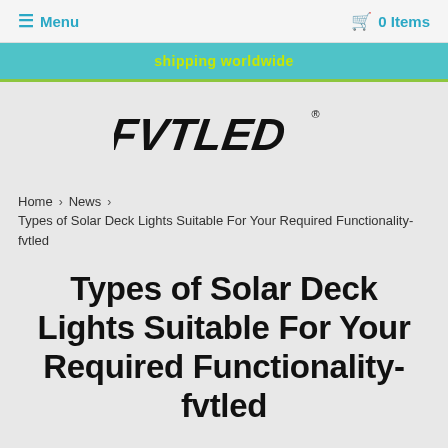≡ Menu   🛒 0 Items
shipping worldwide
[Figure (logo): FVTLED brand logo in bold stylized text with registered trademark symbol]
Home › News › Types of Solar Deck Lights Suitable For Your Required Functionality-fvtled
Types of Solar Deck Lights Suitable For Your Required Functionality-fvtled